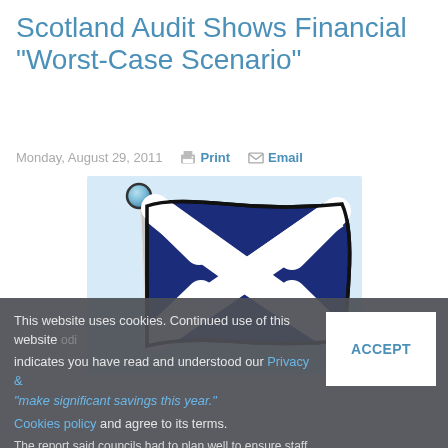Scotland Audit Shows Financial "Worst-Case Scenario"
Monday, August 29, 2011   Print   Email
[Figure (illustration): Scottish Saltire flag (white X cross on dark navy blue background) on a flagpole with a round finial, cartoon illustration style, on light blue background]
This website uses cookies. Continued use of this website indicates you have read and understood our Privacy & Cookies policy and agree to its terms.
The report said councils had to plan well to ensure staff with the best